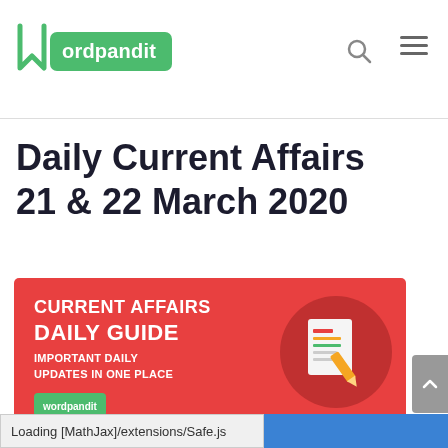wordpandit
Daily Current Affairs 21 & 22 March 2020
[Figure (infographic): Red banner advertisement for 'Current Affairs Daily Guide – Important Daily Updates in One Place' by Wordpandit, featuring a document/pencil icon inside a dark red circle on the right.]
Loading [MathJax]/extensions/Safe.js